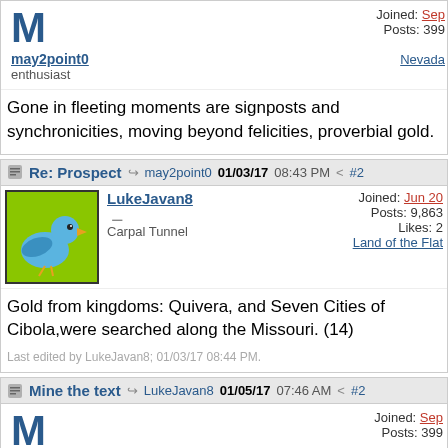Gone in fleeting moments are signposts and synchronicities, moving beyond felicities, proverbial gold.
Re: Prospect — may2point0 01/03/17 08:43 PM #2
Gold from kingdoms: Quivera, and Seven Cities of Cibola,were searched along the Missouri. (14)
Last edited by LukeJavan8; 01/03/17 08:44 PM.
Mine the text — LukeJavan8 01/05/17 07:46 AM #2
I'm like a chicken who's found a knife; "Missouri loves company," she sighed almost sorrowfully. (15)